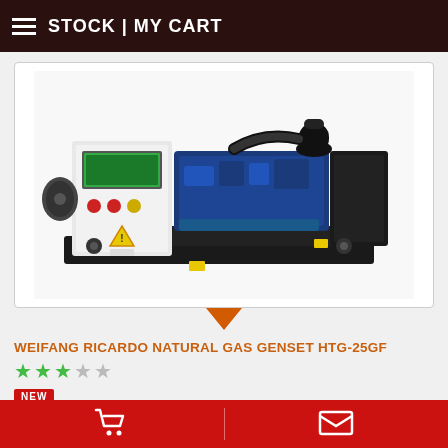STOCK | MY CART
[Figure (photo): Industrial natural gas generator set (genset) on a black base frame, with white control panel on the left, blue engine in the center, and black housing on the right.]
WEIFANG RICARDO NATURAL GAS GENSET HTG-25GF
★★★☆☆ (2.5 stars out of 5)
NEW
ID: 1499